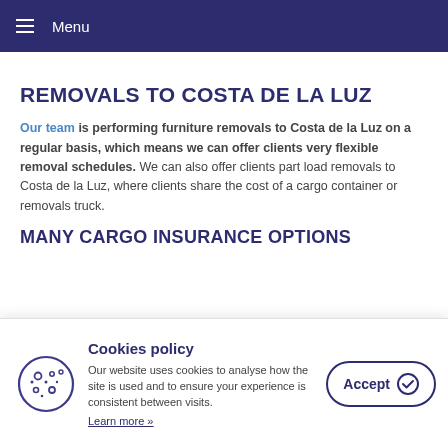Menu
REMOVALS TO COSTA DE LA LUZ
Our team is performing furniture removals to Costa de la Luz on a regular basis, which means we can offer clients very flexible removal schedules. We can also offer clients part load removals to Costa de la Luz, where clients share the cost of a cargo container or removals truck.
MANY CARGO INSURANCE OPTIONS
Cookies policy
Our website uses cookies to analyse how the site is used and to ensure your experience is consistent between visits.
Learn more »